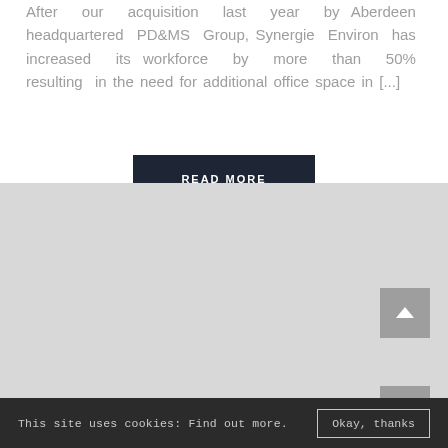After our acquisition last year by Aberdeen headquartered PD&MS Group, Synergie Environ has increased its workforce by more than 50% resulting in the need for additional office space in [...]
READ MORE
[Figure (screenshot): Gray background area representing a website footer section with a scroll-to-top button (upward chevron) on the right side]
This site uses cookies: Find out more.  Okay, thanks